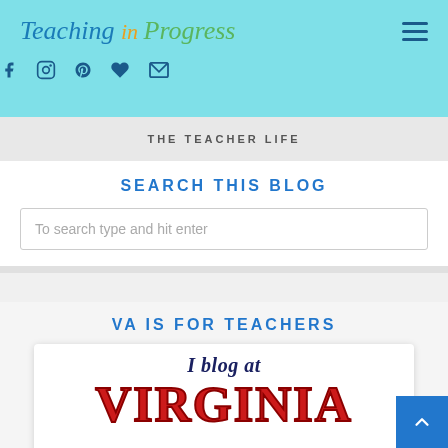Teaching in Progress
[Figure (screenshot): Social media icons: Facebook, Instagram, Pinterest, heart/Bloglovin, Email]
THE TEACHER LIFE
SEARCH THIS BLOG
To search type and hit enter
VA IS FOR TEACHERS
[Figure (illustration): Blog card showing 'I blog at VIRGINIA' with dark navy text and large red VIRGINIA lettering]